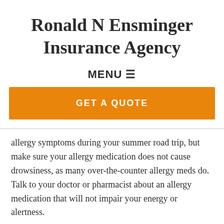Ronald N Ensminger Insurance Agency
MENU ☰
GET A QUOTE
allergy symptoms during your summer road trip, but make sure your allergy medication does not cause drowsiness, as many over-the-counter allergy meds do. Talk to your doctor or pharmacist about an allergy medication that will not impair your energy or alertness.